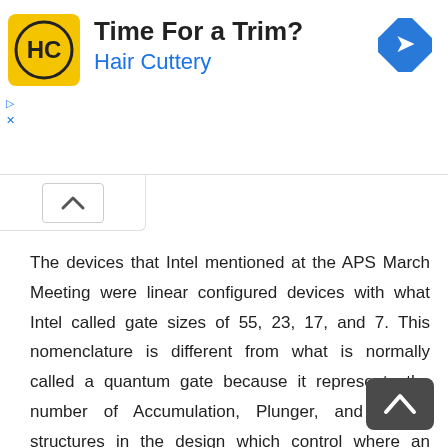[Figure (other): Advertisement banner for Hair Cuttery salon with yellow logo showing HC, title 'Time For a Trim?', subtitle 'Hair Cuttery', and a blue diamond navigation icon.]
The devices that Intel mentioned at the APS March Meeting were linear configured devices with what Intel called gate sizes of 55, 23, 17, and 7. This nomenclature is different from what is normally called a quantum gate because it represents the number of Accumulation, Plunger, and Barrier structures in the design which control where an electron can be trapped. (See diagram below.) These configurations only support nearest neighbor coupling with the smallest configuration